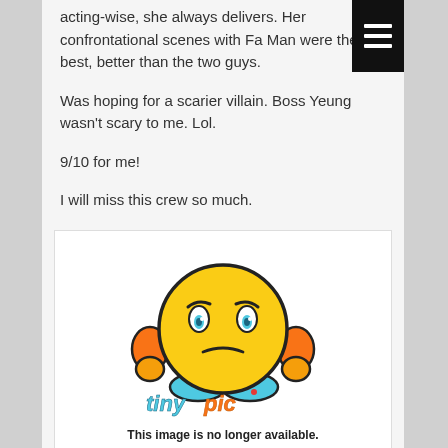acting-wise, she always delivers. Her confrontational scenes with Fa Man were the best, better than the two guys.
Was hoping for a scarier villain. Boss Yeung wasn't scary to me. Lol.
9/10 for me!
I will miss this crew so much.
[Figure (illustration): TinyPic placeholder image showing a cartoon sad/angry yellow emoji face with orange ear-like appendages and blue feet, with the colorful 'tinypic' logo text below it.]
This image is no longer available.